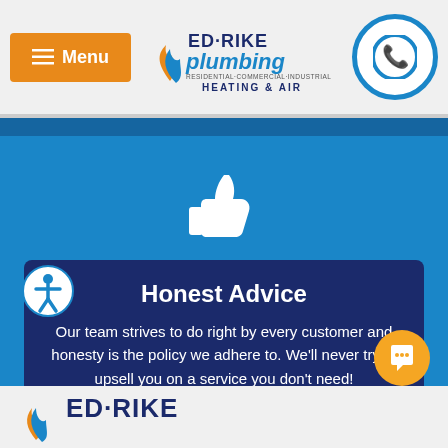[Figure (logo): Ed Rike Plumbing logo with flame and water drop icon, text RESIDENTIAL-COMMERCIAL-INDUSTRIAL HEATING & AIR]
[Figure (illustration): White thumbs up icon on blue background]
Honest Advice
Our team strives to do right by every customer and honesty is the policy we adhere to. We'll never try to upsell you on a service you don't need!
[Figure (logo): Ed Rike plumbing logo partial at bottom footer area]